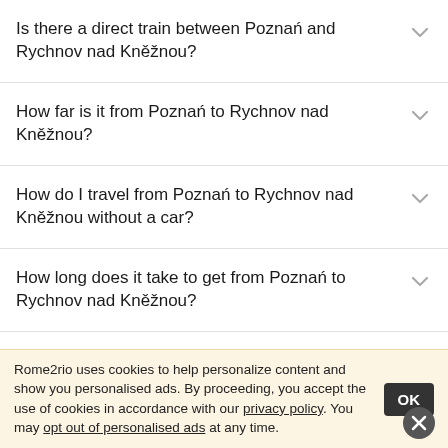Is there a direct train between Poznań and Rychnov nad Kněžnou?
How far is it from Poznań to Rychnov nad Kněžnou?
How do I travel from Poznań to Rychnov nad Kněžnou without a car?
How long does it take to get from Poznań to Rychnov nad Kněžnou?
Where do I catch the Poznań to Rychnov nad Kněžnou
Rome2rio uses cookies to help personalize content and show you personalised ads. By proceeding, you accept the use of cookies in accordance with our privacy policy. You may opt out of personalised ads at any time.